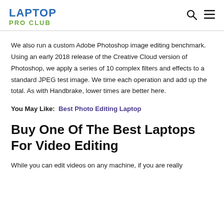LAPTOP PRO CLUB
We also run a custom Adobe Photoshop image editing benchmark. Using an early 2018 release of the Creative Cloud version of Photoshop, we apply a series of 10 complex filters and effects to a standard JPEG test image. We time each operation and add up the total. As with Handbrake, lower times are better here.
You May Like:  Best Photo Editing Laptop
Buy One Of The Best Laptops For Video Editing
While you can edit videos on any machine, if you are really